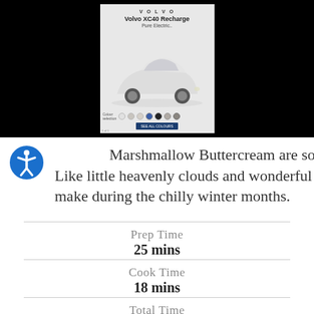[Figure (screenshot): Volvo XC40 Recharge Pure Electric advertisement showing a white SUV with color selection options on a light gray background, embedded in a black banner area.]
Marshmallow Buttercream are so perfect! Like little heavenly clouds and wonderful to make during the chilly winter months.
| Label | Value |
| --- | --- |
| Prep Time | 25 mins |
| Cook Time | 18 mins |
| Total Time | 43 mins |
| Course | Cakes/Cupcakes, Dessert |